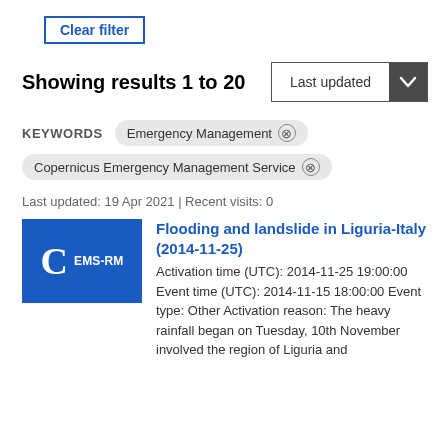Clear filter
Showing results 1 to 20
Last updated
KEYWORDS  Emergency Management ×  Copernicus Emergency Management Service ×
Last updated: 19 Apr 2021 | Recent visits: 0
Flooding and landslide in Liguria-Italy (2014-11-25)
Activation time (UTC): 2014-11-25 19:00:00 Event time (UTC): 2014-11-15 18:00:00 Event type: Other Activation reason: The heavy rainfall began on Tuesday, 10th November involved the region of Liguria and